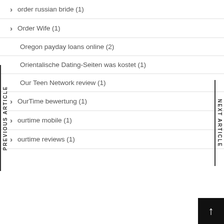order russian bride (1)
Order Wife (1)
Oregon payday loans online (2)
Orientalische Dating-Seiten was kostet (1)
Our Teen Network review (1)
OurTime bewertung (1)
ourtime mobile (1)
ourtime reviews (1)